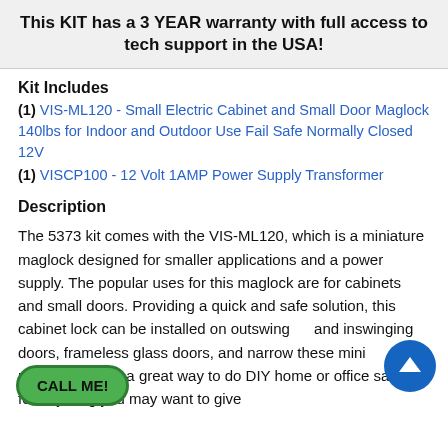This KIT has a 3 YEAR warranty with full access to tech support in the USA!
Kit Includes
(1) VIS-ML120 - Small Electric Cabinet and Small Door Maglock 140lbs for Indoor and Outdoor Use Fail Safe Normally Closed 12V
(1) VISCP100 - 12 Volt 1AMP Power Supply Transformer
Description
The 5373 kit comes with the VIS-ML120, which is a miniature maglock designed for smaller applications and a power supply. The popular uses for this maglock are for cabinets and small doors. Providing a quick and safe solution, this cabinet lock can be installed on outswinging and inswinging doors, frameless glass doors, and narrow these mini maglocks make a great way to do DIY home or office safes for anything you may want to give